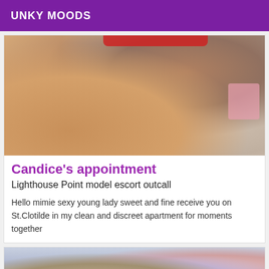UNKY MOODS
[Figure (photo): Photo of a person outdoors, close-up showing a leg and a figure wearing a red hat, with a pink item visible on the right side]
Candice's appointment
Lighthouse Point model escort outcall
Hello mimie sexy young lady sweet and fine receive you on St.Clotilde in my clean and discreet apartment for moments together
[Figure (illustration): Anime-style illustration of a figure with brown hair lying down, wearing a light blue outfit]